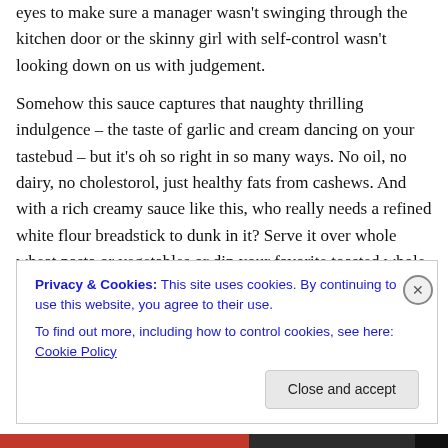eyes to make sure a manager wasn't swinging through the kitchen door or the skinny girl with self-control wasn't looking down on us with judgement.

Somehow this sauce captures that naughty thrilling indulgence – the taste of garlic and cream dancing on your tastebud – but it's oh so right in so many ways. No oil, no dairy, no cholestorol, just healthy fats from cashews. And with a rich creamy sauce like this, who really needs a refined white flour breadstick to dunk in it? Serve it over whole wheat pasta or vegetables or dip your favorite toasted whole grain baguette in it and you'll be every bit as
Privacy & Cookies: This site uses cookies. By continuing to use this website, you agree to their use.
To find out more, including how to control cookies, see here: Cookie Policy
Close and accept